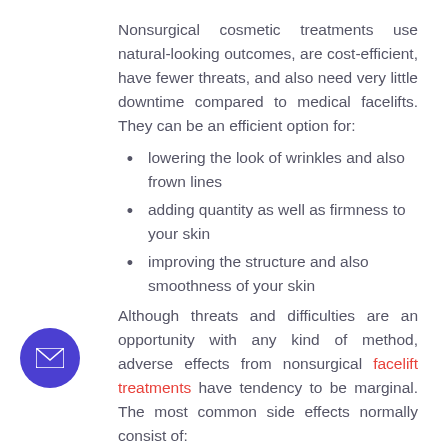Nonsurgical cosmetic treatments use natural-looking outcomes, are cost-efficient, have fewer threats, and also need very little downtime compared to medical facelifts. They can be an efficient option for:
lowering the look of wrinkles and also frown lines
adding quantity as well as firmness to your skin
improving the structure and also smoothness of your skin
Although threats and difficulties are an opportunity with any kind of method, adverse effects from nonsurgical facelift treatments have tendency to be marginal. The most common side effects normally consist of: